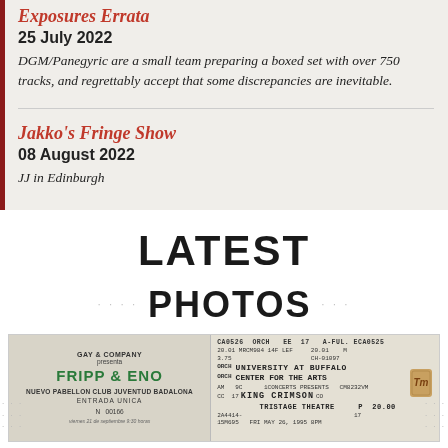Exposures Errata
25 July 2022
DGM/Panegyric are a small team preparing a boxed set with over 750 tracks, and regrettably accept that some discrepancies are inevitable.
Jakko's Fringe Show
08 August 2022
JJ in Edinburgh
LATEST
PHOTOS
[Figure (photo): Two vintage concert tickets: left ticket for Fripp & Eno at Nuevo Pabellon Club Juventud Badalona presented by Gay & Company, entrada unica N 00166; right ticket for King Crimson at Tristage Theatre, University at Buffalo Center for the Arts, Friday May 26 1995 8PM, Orchestra section.]